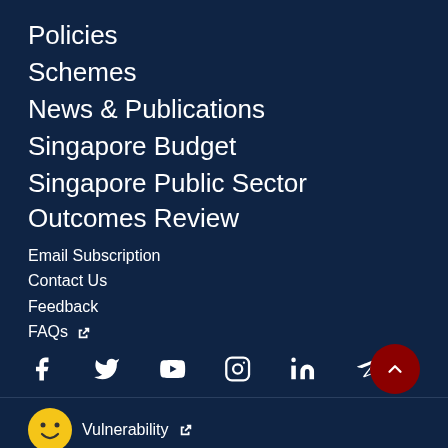Policies
Schemes
News & Publications
Singapore Budget
Singapore Public Sector Outcomes Review
Email Subscription
Contact Us
Feedback
FAQs
[Figure (infographic): Social media icons row: Facebook, Twitter, YouTube, Instagram, LinkedIn, Telegram. Red scroll-to-top button on right.]
Vulnerability
Privacy Statement